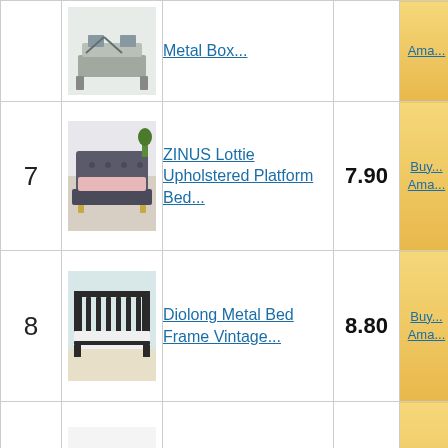| Rank | Image | Product | Score | Buy |
| --- | --- | --- | --- | --- |
|  |  | Metal Box... |  | Buy... Ama... |
| 7 | [image] | ZINUS Lottie Upholstered Platform Bed... | 7.90 | Buy... Ama... |
| 8 | [image] | Diolong Metal Bed Frame Vintage... | 8.80 | Buy... Ama... |
| 9 | [image] | HAAGEEP Black Twin Metal Bed... | 9.45 | Buy... Ama... |